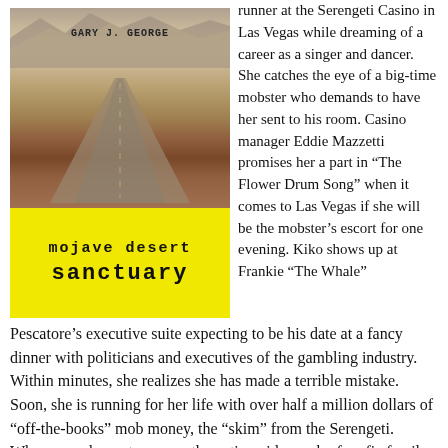[Figure (illustration): Book cover of 'Mojave Desert Sanctuary' by Gary J. George. Top portion shows a desert landscape with mountains in the background and a road stretching into the distance. Bottom portion is bright yellow with the title text in bold monospace font.]
runner at the Serengeti Casino in Las Vegas while dreaming of a career as a singer and dancer. She catches the eye of a big-time mobster who demands to have her sent to his room. Casino manager Eddie Mazzetti promises her a part in “The Flower Drum Song” when it comes to Las Vegas if she will be the mobster’s escort for one evening. Kiko shows up at Frankie “The Whale”
Pescatore’s executive suite expecting to be his date at a fancy dinner with politicians and executives of the gambling industry. Within minutes, she realizes she has made a terrible mistake. Soon, she is running for her life with over half a million dollars of “off-the-books” mob money, the “skim” from the Serengeti. Where can she go to escape the nationwide reach of mafia family influence and control? A chance encounter with a desert rancher gives her hope of sanctuary. Lieutenant Carols Caballo,